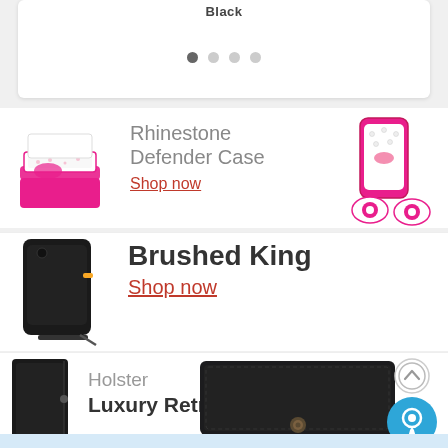Black
[Figure (screenshot): Carousel dot navigation indicators: one dark dot (active) and three light dots]
[Figure (infographic): Rhinestone Defender Case product banner with pink phone case images on left and right]
Rhinestone Defender Case
Shop now
[Figure (infographic): Brushed King product banner with black phone case image on left]
Brushed King
Shop now
[Figure (infographic): Holster Luxury Retro product banner with black wallet case images]
Holster Luxury Retro